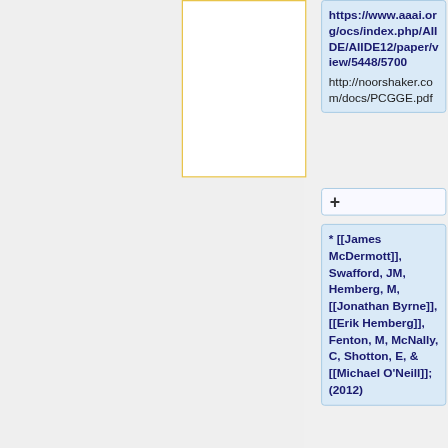[Figure (other): Yellow-bordered empty white box (document placeholder)]
https://www.aaai.org/ocs/index.php/AIIDE/AIIDE12/paper/view/5448/5700
http://noorshaker.com/docs/PCGGE.pdf
+
* [[James McDermott]], Swafford, JM, Hemberg, M, [[Jonathan Byrne]], [[Erik Hemberg]], Fenton, M, McNally, C, Shotton, E, & [[Michael O'Neill]]; (2012)